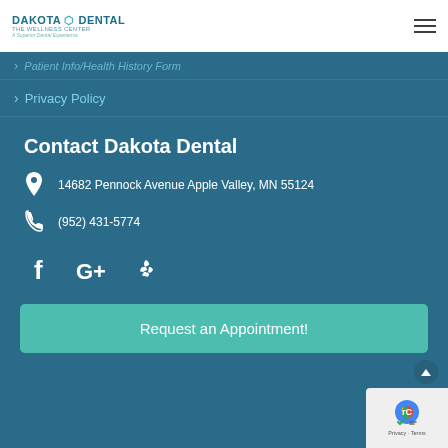DAKOTA DENTAL
Patient Info/Health History Form
Privacy Policy
Contact Dakota Dental
14682 Pennock Avenue Apple Valley, MN 55124
(952) 431-5774
[Figure (other): Social media icons: Facebook, Google+, Yelp]
Request an Appointment!